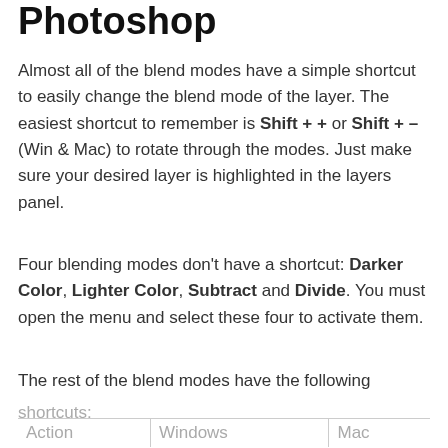Photoshop
Almost all of the blend modes have a simple shortcut to easily change the blend mode of the layer. The easiest shortcut to remember is Shift + + or Shift + – (Win & Mac) to rotate through the modes. Just make sure your desired layer is highlighted in the layers panel.
Four blending modes don't have a shortcut: Darker Color, Lighter Color, Subtract and Divide. You must open the menu and select these four to activate them.
The rest of the blend modes have the following
shortcuts:
| Action | Windows | Mac |
| --- | --- | --- |